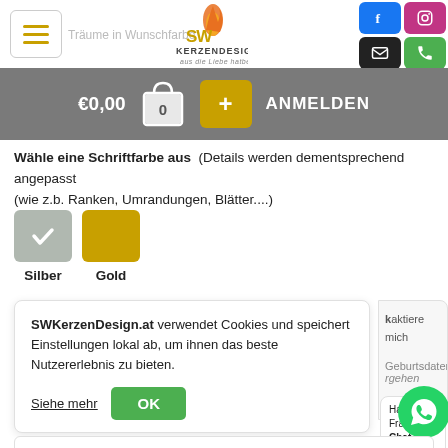[Figure (screenshot): Website header with hamburger menu, 'Träume in Wunschfarbe' text, SW KerzenDesign flame logo, and social media icons (Facebook, Instagram, email, phone)]
[Figure (screenshot): Shopping cart bar with €0,00 price, cart icon with 0, gold plus button, and ANMELDEN text]
Wähle eine Schriftfarbe aus (Details werden dementsprechend angepasst (wie z.b. Ranken, Umrandungen, Blätter....)
[Figure (other): Two color swatches: Silber (silver/gray with checkmark) and Gold (golden yellow)]
Silber  Gold
SWKerzenDesign.at verwendet Cookies und speichert Einstellungen lokal ab, um ihnen das beste Nutzererlebnis zu bieten.
Siehe mehr
OK
ktaktiere mich
Geburtsdaten
gehen
Hast du Fragen? Chat mit uns auf Whatsapp